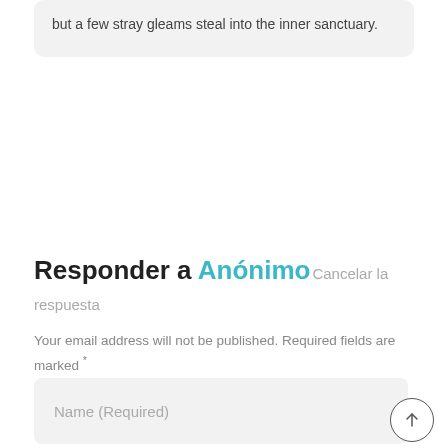but a few stray gleams steal into the inner sanctuary.
Responder a Anónimo Cancelar la respuesta
Your email address will not be published. Required fields are marked *
Name (Required)